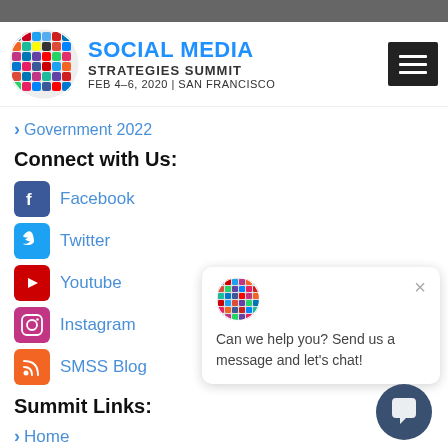[Figure (logo): Social Media Strategies Summit logo with globe icon, text 'SOCIAL MEDIA STRATEGIES SUMMIT FEB 4-6, 2020 | SAN FRANCISCO']
Government 2022
Connect with Us:
Facebook
Twitter
Youtube
Instagram
SMSS Blog
Summit Links:
Home
Agenda
Speakers
Venue
[Figure (screenshot): Chat popup widget with globe icon and message: Can we help you? Send us a message and let's chat!]